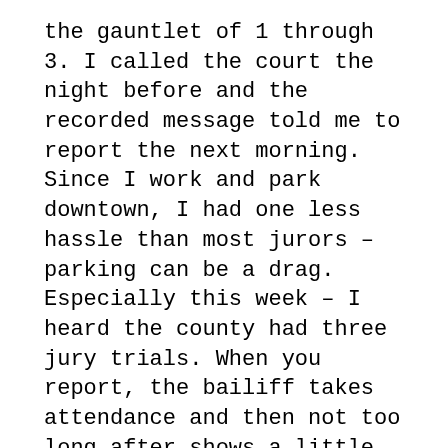the gauntlet of 1 through 3. I called the court the night before and the recorded message told me to report the next morning. Since I work and park downtown, I had one less hassle than most jurors – parking can be a drag. Especially this week – I heard the county had three jury trials. When you report, the bailiff takes attendance and then not too long after shows a little prepared film on jury duty. (I had brought a book, prepared for a lot of downtime, but there just wasn't much in my case.)
The dynamic in the jury room is initially a little awkward. Lots of strangers not knowing whether to talk to each other or what to say. There is sporadic small talk broken by stretches of awkward silences. Amusingly, the judge of the court we were in had actually turned up on the jury list for that day. He had reviewed the file and had to